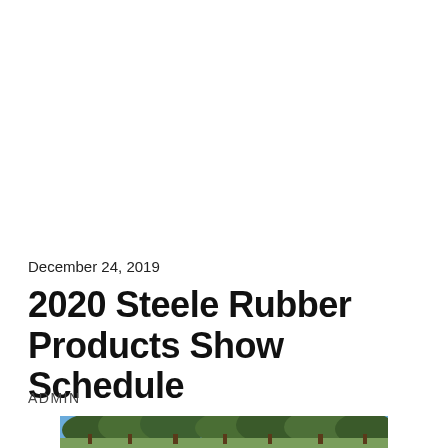December 24, 2019
2020 Steele Rubber Products Show Schedule
ADMIN
[Figure (photo): Outdoor scene with blue sky and trees, partial view of a car show or outdoor event area.]